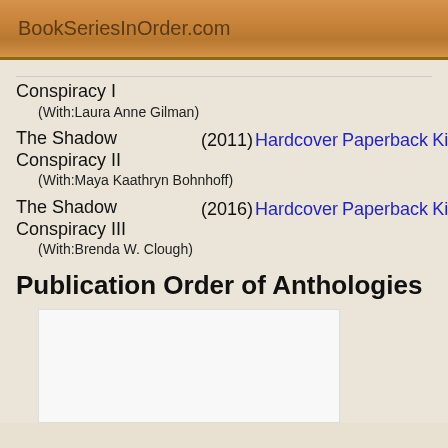BookSeriesInOrder.com
The Shadow Conspiracy I (With:Laura Anne Gilman)
The Shadow Conspiracy II (2011) Hardcover Paperback Kindle (With:Maya Kaathryn Bohnhoff)
The Shadow Conspiracy III (2016) Hardcover Paperback Kindle (With:Brenda W. Clough)
Publication Order of Anthologies
[Figure (other): White/blank book cover image placeholder]